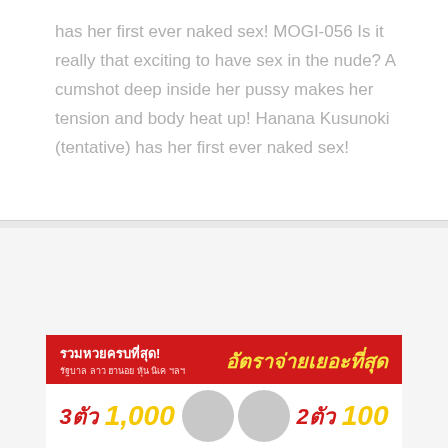has her first ever naked sex! MOGI-056 Is it really that exciting to have sex in the nude? A cumshot deep inside her pussy makes her tension and body heat up! Hanana Kusunoki (tentative) has her first ever naked sex!
[Figure (illustration): Advertisement banner for Thai lottery website. Red top bar with Thai text 'รวมหวยครบที่สุด! อัตราจ่ายเยอะที่สุด' and sub-text 'รัฐบาล ลาว ฮานอย หุ้น นิเค ฯลฯ'. Bottom white bar showing '3ตัว 1,000' and '2ตัว 100' with two women's photos.]